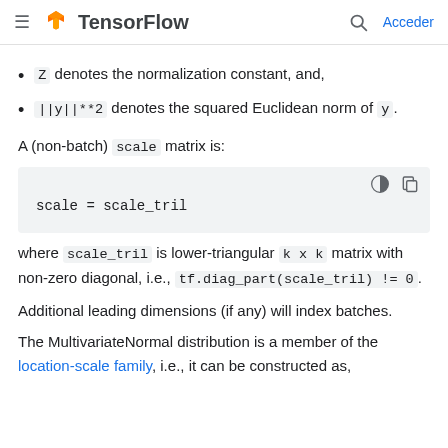TensorFlow  Acceder
Z denotes the normalization constant, and,
||y||**2 denotes the squared Euclidean norm of y.
A (non-batch) scale matrix is:
where scale_tril is lower-triangular k x k matrix with non-zero diagonal, i.e., tf.diag_part(scale_tril) != 0.
Additional leading dimensions (if any) will index batches.
The MultivariateNormal distribution is a member of the location-scale family, i.e., it can be constructed as,